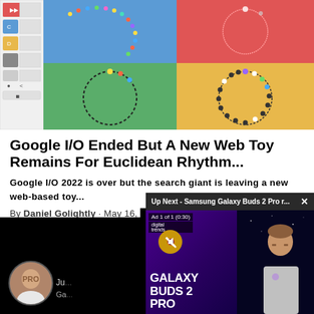[Figure (screenshot): Euclidean Rhythm web toy screenshot showing four colored quadrants (blue, red, green, yellow) with circular dot patterns representing musical rhythms, plus a sidebar with controls]
Google I/O Ended But A New Web Toy Remains For Euclidean Rhythm...
Google I/O 2022 is over but the search giant is leaving a new web-based toy...
By Daniel Golightly · May 16, 2022
[Figure (screenshot): Video popup overlay: 'Up Next - Samsung Galaxy Buds 2 Pro r...' with ad counter showing 'Ad 1 of 1 (0:30)', mute button, Galaxy Buds 2 Pro text overlay, and presenter on right side]